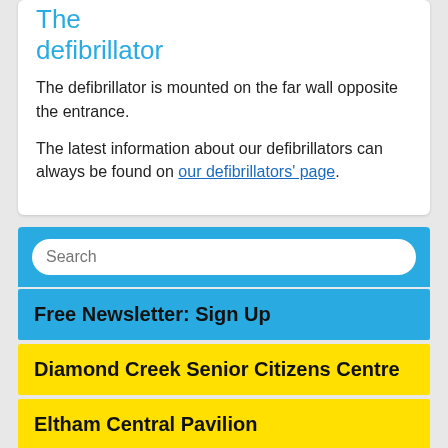The defibrillator
The defibrillator is mounted on the far wall opposite the entrance.
The latest information about our defibrillators can always be found on our defibrillators' page.
Free Newsletter: Sign Up
Diamond Creek Senior Citizens Centre
Eltham Central Pavilion
Eltham Guide Hall
Old Eltham Courthouse